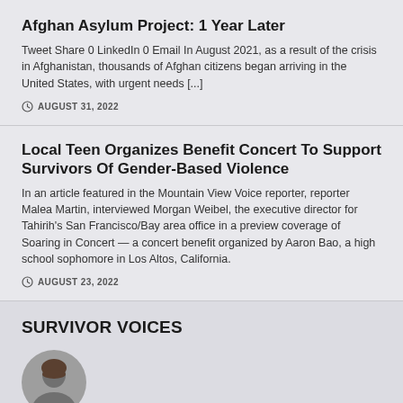Afghan Asylum Project: 1 Year Later
Tweet Share 0 LinkedIn 0 Email In August 2021, as a result of the crisis in Afghanistan, thousands of Afghan citizens began arriving in the United States, with urgent needs [...]
AUGUST 31, 2022
Local Teen Organizes Benefit Concert To Support Survivors Of Gender-Based Violence
In an article featured in the Mountain View Voice reporter, reporter Malea Martin, interviewed Morgan Weibel, the executive director for Tahirih's San Francisco/Bay area office in a preview coverage of Soaring in Concert — a concert benefit organized by Aaron Bao, a high school sophomore in Los Altos, California.
AUGUST 23, 2022
SURVIVOR VOICES
[Figure (photo): Circular cropped photo of a person, partially visible at the bottom of the page]